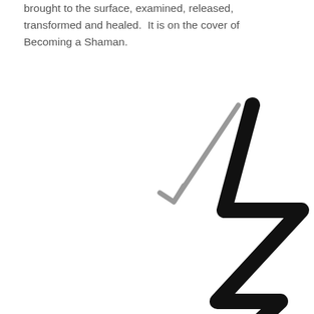brought to the surface, examined, released, transformed and healed.  It is on the cover of Becoming a Shaman.
[Figure (illustration): Hand-drawn illustration showing a gray diagonal arrow pointing down-left, overlaid with a bold black zigzag lightning-bolt style line that descends in sharp angles from upper center toward the bottom of the page.]